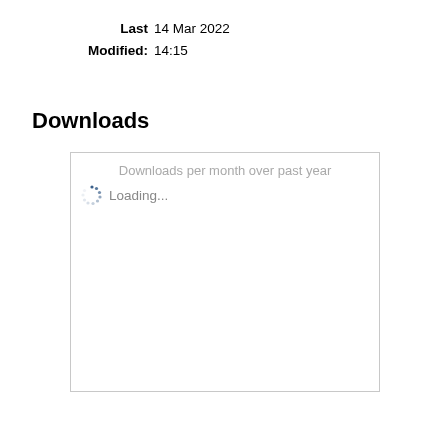Last Modified: 14 Mar 2022 14:15
Downloads
[Figure (other): Downloads per month over past year chart area showing a loading spinner and 'Loading...' text inside a bordered box]
More statistics for this item...